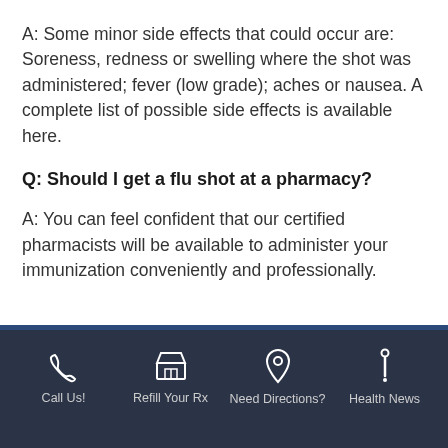A: Some minor side effects that could occur are: Soreness, redness or swelling where the shot was administered; fever (low grade); aches or nausea. A complete list of possible side effects is available here.
Q: Should I get a flu shot at a pharmacy?
A: You can feel confident that our certified pharmacists will be available to administer your immunization conveniently and professionally.
Call Us! | Refill Your Rx | Need Directions? | Health News